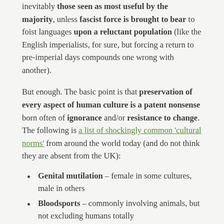inevitably those seen as most useful by the majority, unless fascist force is brought to bear to foist languages upon a reluctant population (like the English imperialists, for sure, but forcing a return to pre-imperial days compounds one wrong with another).
But enough. The basic point is that preservation of every aspect of human culture is a patent nonsense born often of ignorance and/or resistance to change. The following is a list of shockingly common ‘cultural norms’ from around the world today (and do not think they are absent from the UK):
Genital mutilation – female in some cultures, male in others
Bloodsports – commonly involving animals, but not excluding humans totally
Infanticide
A role raft of tortures, from stoning to water boarding